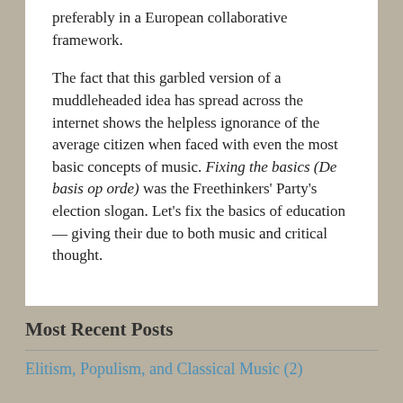preferably in a European collaborative framework.

The fact that this garbled version of a muddleheaded idea has spread across the internet shows the helpless ignorance of the average citizen when faced with even the most basic concepts of music. Fixing the basics (De basis op orde) was the Freethinkers' Party's election slogan. Let's fix the basics of education — giving their due to both music and critical thought.
Most Recent Posts
Elitism, Populism, and Classical Music (2)